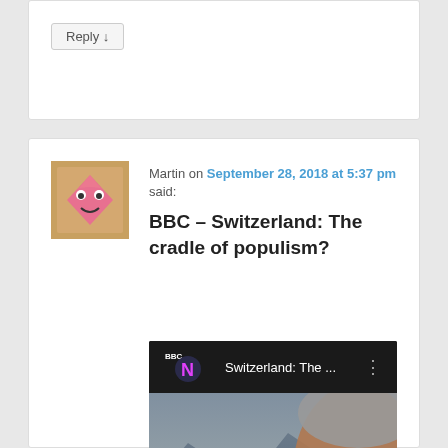Reply ↓
Martin on September 28, 2018 at 5:37 pm said:
BBC – Switzerland: The cradle of populism?
[Figure (screenshot): YouTube video thumbnail showing BBC News video titled 'Switzerland: The ...' with a landscape background and a man's face, with a play button overlay]